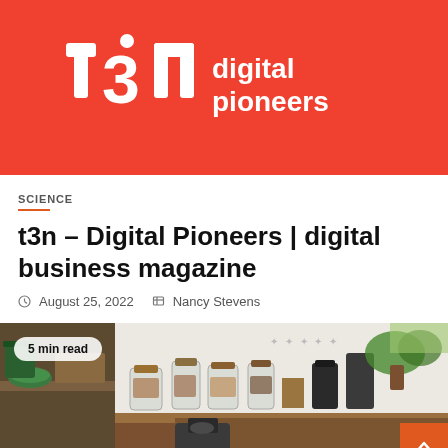[Figure (logo): t3n digital pioneers logo — white t3n lettermark on red/coral background with 'digital pioneers' text to the right]
SCIENCE
t3n – Digital Pioneers | digital business magazine
August 25, 2022   Nancy Stevens
[Figure (photo): Kitchen shelves with glass jars, spices, green plants, bowls and a kitchen appliance. Badge overlay reads '5 min read'.]